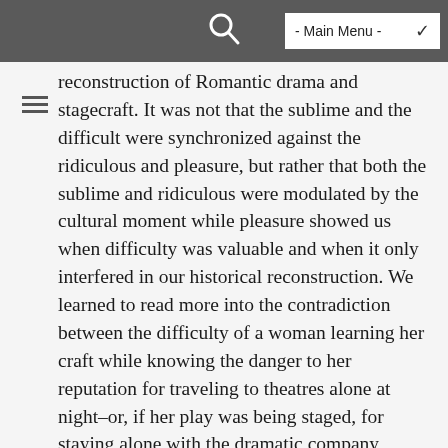- Main Menu -
reconstruction of Romantic drama and stagecraft. It was not that the sublime and the difficult were synchronized against the ridiculous and pleasure, but rather that both the sublime and ridiculous were modulated by the cultural moment while pleasure showed us when difficulty was valuable and when it only interfered in our historical reconstruction. We learned to read more into the contradiction between the difficulty of a woman learning her craft while knowing the danger to her reputation for traveling to theatres alone at night–or, if her play was being staged, for staying alone with the dramatic company during rehearsals–and the fact that women wrote some of the most hilarious domestic comedies of the late eighteenth century. No longer could breeches parts and gender-bending be taken as anything other than social commentary, but we laughed all the